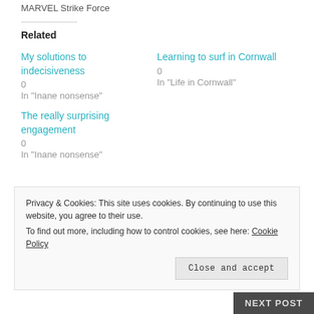MARVEL Strike Force
Related
My solutions to indecisiveness
0
In "Inane nonsense"
Learning to surf in Cornwall
0
In "Life in Cornwall"
The really surprising engagement
0
In "Inane nonsense"
Privacy & Cookies: This site uses cookies. By continuing to use this website, you agree to their use.
To find out more, including how to control cookies, see here: Cookie Policy
Close and accept
NEXT POST